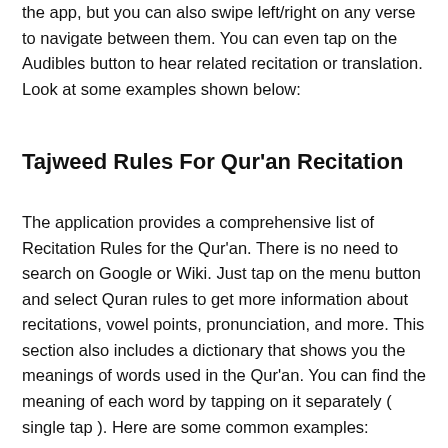the app, but you can also swipe left/right on any verse to navigate between them. You can even tap on the Audibles button to hear related recitation or translation. Look at some examples shown below:
Tajweed Rules For Qur'an Recitation
The application provides a comprehensive list of Recitation Rules for the Qur'an. There is no need to search on Google or Wiki. Just tap on the menu button and select Quran rules to get more information about recitations, vowel points, pronunciation, and more. This section also includes a dictionary that shows you the meanings of words used in the Qur'an. You can find the meaning of each word by tapping on it separately ( single tap ). Here are some common examples: